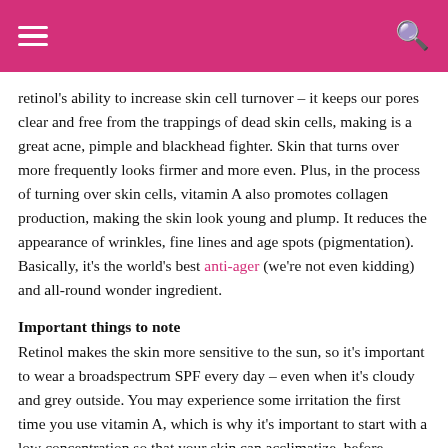≡  🔍
retinol's ability to increase skin cell turnover – it keeps our pores clear and free from the trappings of dead skin cells, making is a great acne, pimple and blackhead fighter. Skin that turns over more frequently looks firmer and more even. Plus, in the process of turning over skin cells, vitamin A also promotes collagen production, making the skin look young and plump. It reduces the appearance of wrinkles, fine lines and age spots (pigmentation). Basically, it's the world's best anti-ager (we're not even kidding) and all-round wonder ingredient.
Important things to note
Retinol makes the skin more sensitive to the sun, so it's important to wear a broadspectrum SPF every day – even when it's cloudy and grey outside. You may experience some irritation the first time you use vitamin A, which is why it's important to start with a low concentration so that your skin can acclimatize, before working your way up to a higher concentration.